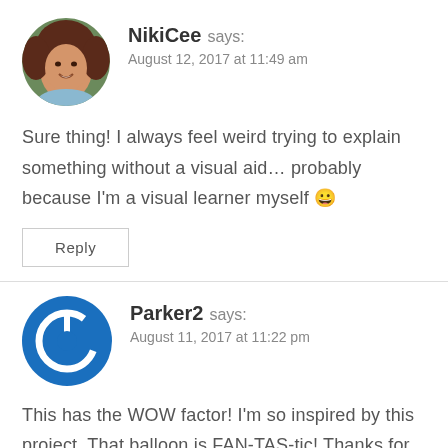[Figure (photo): Circular avatar photo of NikiCee, a woman with curly reddish-brown hair, smiling]
NikiCee says:
August 12, 2017 at 11:49 am
Sure thing! I always feel weird trying to explain something without a visual aid... probably because I'm a visual learner myself 😀
Reply
[Figure (logo): Blue circular power button icon avatar for Parker2]
Parker2 says:
August 11, 2017 at 11:22 pm
This has the WOW factor! I'm so inspired by this project. That balloon is FAN-TAS-tic! Thanks for the tutorial, and Gosh! You even braided that 'string'. So